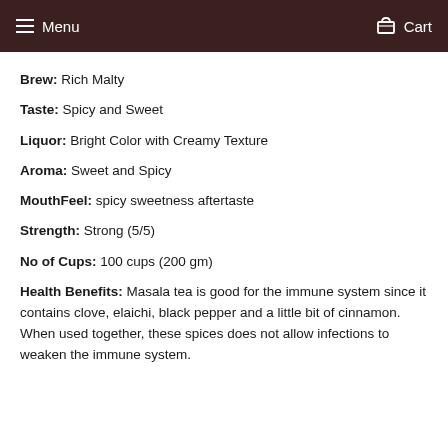Menu   Cart
Brew: Rich Malty
Taste: Spicy and Sweet
Liquor: Bright Color with Creamy Texture
Aroma: Sweet and Spicy
MouthFeel: spicy sweetness aftertaste
Strength: Strong (5/5)
No of Cups: 100 cups (200 gm)
Health Benefits: Masala tea is good for the immune system since it contains clove, elaichi, black pepper and a little bit of cinnamon. When used together, these spices does not allow infections to weaken the immune system.